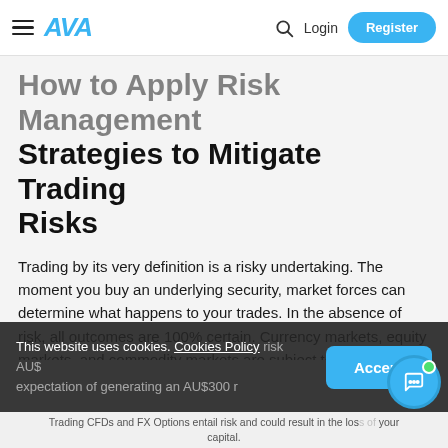AVA — Login | Register
How to Apply Risk Management Strategies to Mitigate Trading Risks
Trading by its very definition is a risky undertaking. The moment you buy an underlying security, market forces can determine what happens to your trades. In the absence of risk, all outcomes are 100% certain. Currency markets, equity markets, and commodity markets are subject to market forces with varying degrees of risk. If you were offered the opportunity to triple your money by loaning somebody AU$100, would you do it? Many [partially obscured] risk AU$... expectation of generating an AU$300 r...
This website uses cookies. Cookies Policy
Trading CFDs and FX Options entail risk and could result in the loss of your capital.